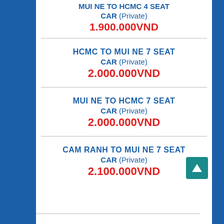MUI NE TO HCMC 4 SEAT CAR (Private) 1.900.000VND
HCMC TO MUI NE 7 SEAT CAR (Private) 2.000.000VND
MUI NE TO HCMC 7 SEAT CAR (Private) 2.000.000VND
CAM RANH TO MUI NE 7 SEAT CAR (Private) 2.100.000VND